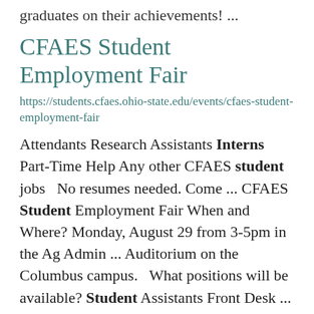graduates on their achievements! ...
CFAES Student Employment Fair
https://students.cfaes.ohio-state.edu/events/cfaes-student-employment-fair
Attendants Research Assistants Interns Part-Time Help Any other CFAES student jobs   No resumes needed. Come ... CFAES Student Employment Fair When and Where? Monday, August 29 from 3-5pm in the Ag Admin ... Auditorium on the Columbus campus.   What positions will be available? Student Assistants Front Desk ...
R... d N... d t M...